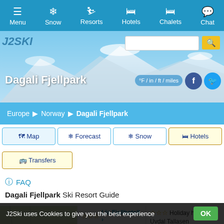Menu | Snow | Resorts | Hotels | Chalets | Chat
[Figure (screenshot): Hero banner with snowy mountain background, J2Ski logo, Dagali Fjellpark resort name, search bar, unit toggle button, Facebook and Twitter social buttons]
Europe > Norway > Dagali Fjellpark
Map | Forecast | Snow | Hotels | Transfers
FAQ
Dagali Fjellpark Ski Resort Guide
[Figure (map): Map thumbnail showing topographic/terrain view of region around Dagali Fjellpark]
Lia Fjellhotell
Holiday home Uvdal Tallasen Smadoldalen
J2Ski uses Cookies to give you the best experience OK